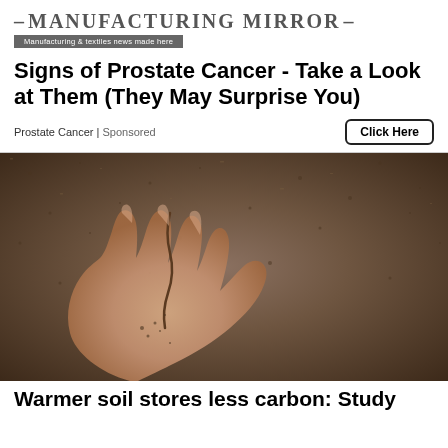MANUFACTURING MIRROR — Manufacturing & textiles news made here
Signs of Prostate Cancer - Take a Look at Them (They May Surprise You)
Prostate Cancer | Sponsored
Click Here
[Figure (photo): Close-up photo of a human hand held open, palm up, resting on or surrounded by dark grainy soil/sand. The hand appears to be holding soil, with fingers slightly spread upward. The overall tone is sepia/brown.]
Warmer soil stores less carbon: Study